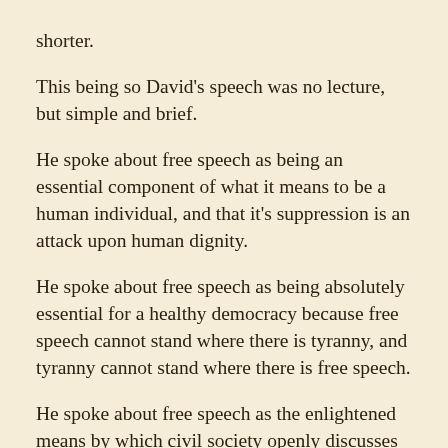shorter.
This being so David's speech was no lecture, but simple and brief.

He spoke about free speech as being an essential component of what it means to be a human individual, and that it's suppression is an attack upon human dignity.
He spoke about free speech as being absolutely essential for a healthy democracy because free speech cannot stand where there is tyranny, and tyranny cannot stand where there is free speech.
He spoke about free speech as the enlightened means by which civil society openly discusses and solves it's problems.
He spoke about how proposed hate speech laws threaten to suppress open discourse about politically charged subjects from fear of